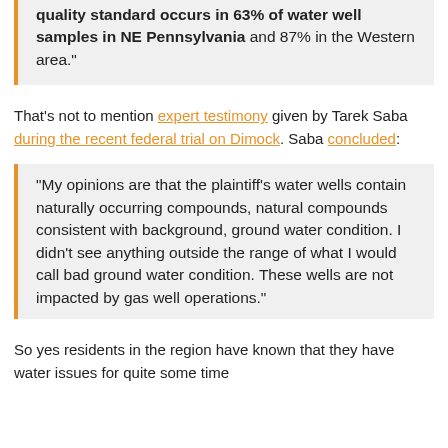quality standard occurs in 63% of water well samples in NE Pennsylvania and 87% in the Western area."
That's not to mention expert testimony given by Tarek Saba during the recent federal trial on Dimock. Saba concluded:
"My opinions are that the plaintiff's water wells contain naturally occurring compounds, natural compounds consistent with background, ground water condition. I didn't see anything outside the range of what I would call bad ground water condition. These wells are not impacted by gas well operations."
So yes residents in the region have known that they have water issues for quite some time